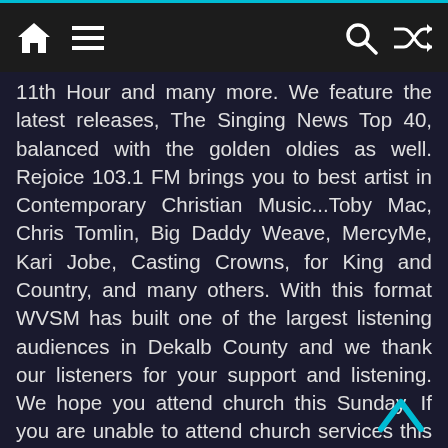[Figure (screenshot): Mobile app navigation bar with home icon, hamburger menu, search icon, and shuffle icon on dark background with teal top border]
11th Hour and many more. We feature the latest releases, The Singing News Top 40, balanced with the golden oldies as well. Rejoice 103.1 FM brings you to best artist in Contemporary Christian Music...Toby Mac, Chris Tomlin, Big Daddy Weave, MercyMe, Kari Jobe, Casting Crowns, for King and Country, and many others. With this format WVSM has built one of the largest listening audiences in Dekalb County and we thank our listeners for your support and listening. We hope you attend church this Sunday. If you are unable to attend church services this week...tune into one of the devotional broadcasts on WVSM this Sunday morning or afternoon.
[Figure (illustration): WVSM Online Public File button — oval blue gradient shape with white bold text]